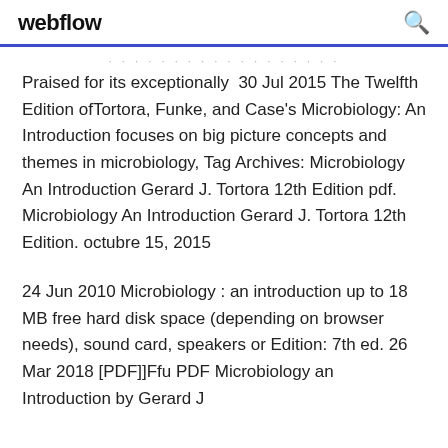webflow
Praised for its exceptionally  30 Jul 2015 The Twelfth Edition ofTortora, Funke, and Case's Microbiology: An Introduction focuses on big picture concepts and themes in microbiology, Tag Archives: Microbiology An Introduction Gerard J. Tortora 12th Edition pdf. Microbiology An Introduction Gerard J. Tortora 12th Edition. octubre 15, 2015
24 Jun 2010 Microbiology : an introduction up to 18 MB free hard disk space (depending on browser needs), sound card, speakers or Edition: 7th ed. 26 Mar 2018 [PDF]]Ffu PDF Microbiology an Introduction by Gerard J